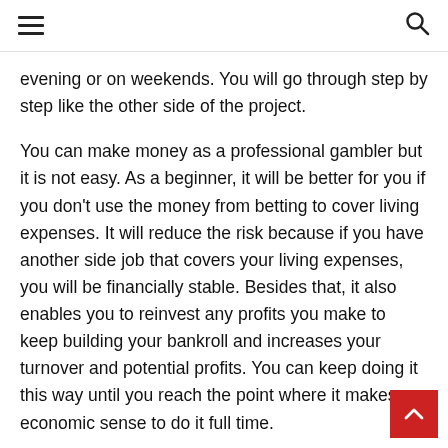[hamburger menu] [search icon]
evening or on weekends. You will go through step by step like the other side of the project.
You can make money as a professional gambler but it is not easy. As a beginner, it will be better for you if you don’t use the money from betting to cover living expenses. It will reduce the risk because if you have another side job that covers your living expenses, you will be financially stable. Besides that, it also enables you to reinvest any profits you make to keep building your bankroll and increases your turnover and potential profits. You can keep doing it this way until you reach the point where it makes economic sense to do it full time.
You must prepare yourself before you join this career, so